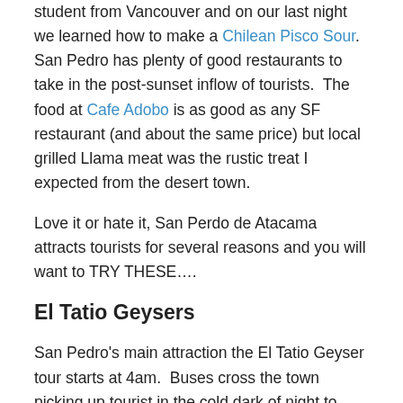student from Vancouver and on our last night we learned how to make a Chilean Pisco Sour.  San Pedro has plenty of good restaurants to take in the post-sunset inflow of tourists.  The food at Cafe Adobo is as good as any SF restaurant (and about the same price) but local grilled Llama meat was the rustic treat I expected from the desert town.
Love it or hate it, San Perdo de Atacama attracts tourists for several reasons and you will want to TRY THESE….
El Tatio Geysers
San Pedro's main attraction the El Tatio Geyser tour starts at 4am.  Buses cross the town picking up tourist in the cold dark of night to arrive at the geysers at sunrise while